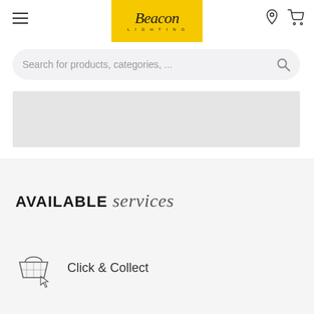[Figure (logo): Beacon Lighting logo — script text on yellow background]
Search for products, categories, ...
[Figure (other): Gray banner/advertisement area]
AVAILABLE services
Click & Collect